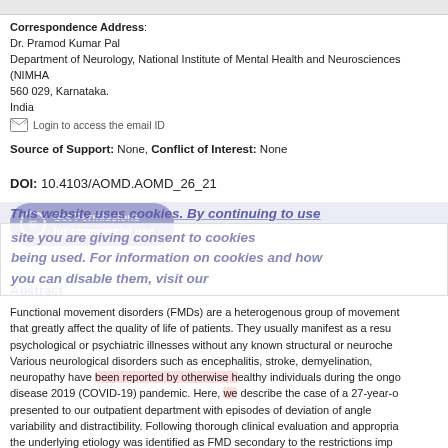Correspondence Address:
Dr. Pramod Kumar Pal
Department of Neurology, National Institute of Mental Health and Neurosciences (NIMHA
560 029, Karnataka.
India
[icon] Login to access the email ID
Source of Support: None, Conflict of Interest: None
DOI: 10.4103/AOMD.AOMD_26_21
[Figure (other): Get Permissions for commercial use button (blue/purple rounded button with copyright icon)]
This website uses cookies. By continuing to use this site you are giving consent to cookies being used. For information on cookies and how you can disable them, visit our
Abstract
Functional movement disorders (FMDs) are a heterogenous group of movement disorders that greatly affect the quality of life of patients. They usually manifest as a result of psychological or psychiatric illnesses without any known structural or neurochemical basis. Various neurological disorders such as encephalitis, stroke, demyelination, and peripheral neuropathy have been reported by otherwise healthy individuals during the ongoing coronavirus disease 2019 (COVID-19) pandemic. Here, we describe the case of a 27-year-old-male who presented to our outpatient department with episodes of deviation of angle of mouth with variability and distractibility. Following thorough clinical evaluation and appropriate workup, the underlying etiology was identified as FMD secondary to the restrictions imposed